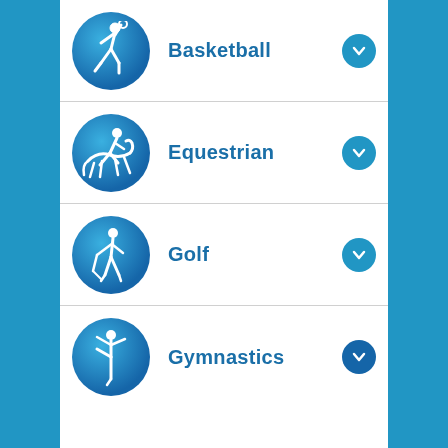Basketball
Equestrian
Golf
Gymnastics